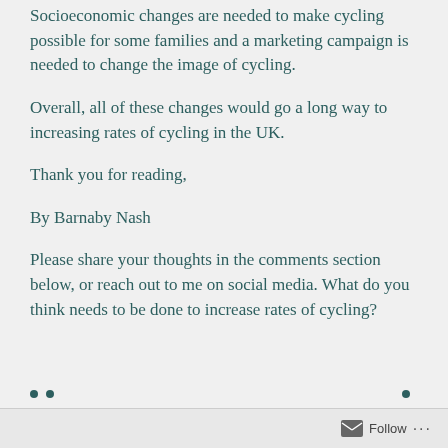Socioeconomic changes are needed to make cycling possible for some families and a marketing campaign is needed to change the image of cycling.
Overall, all of these changes would go a long way to increasing rates of cycling in the UK.
Thank you for reading,
By Barnaby Nash
Please share your thoughts in the comments section below, or reach out to me on social media. What do you think needs to be done to increase rates of cycling?
Follow